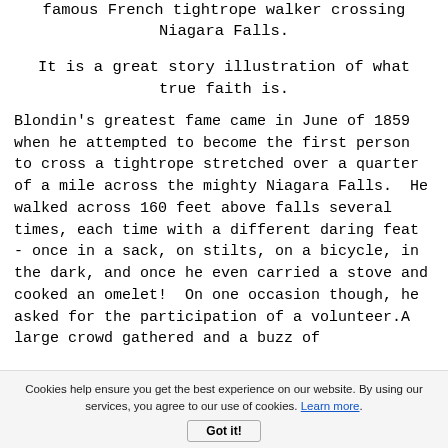famous French tightrope walker crossing Niagara Falls.
It is a great story illustration of what true faith is.
Blondin's greatest fame came in June of 1859 when he attempted to become the first person to cross a tightrope stretched over a quarter of a mile across the mighty Niagara Falls.  He walked across 160 feet above falls several times, each time with a different daring feat - once in a sack, on stilts, on a bicycle, in the dark, and once he even carried a stove and cooked an omelet!  On one occasion though, he asked for the participation of a volunteer.A large crowd gathered and a buzz of
Cookies help ensure you get the best experience on our website. By using our services, you agree to our use of cookies. Learn more.
Got it!